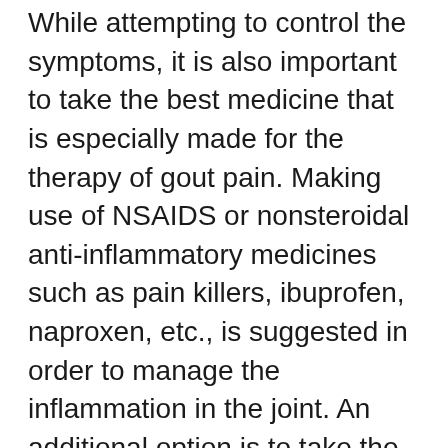While attempting to control the symptoms, it is also important to take the best medicine that is especially made for the therapy of gout pain. Making use of NSAIDS or nonsteroidal anti-inflammatory medicines such as pain killers, ibuprofen, naproxen, etc., is suggested in order to manage the inflammation in the joint. An additional option is to take the prescription lotion or the dental tablet computer of the suggested dose of the medicine. While carrying out these self-management techniques it is essential to keep in mind that the gout pain strike can return if the medication is stopped quickly; so it is best to walk slowly as well as cautiously with these medications.
One more option to manage the attack is by